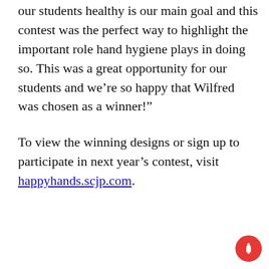our students healthy is our main goal and this contest was the perfect way to highlight the important role hand hygiene plays in doing so. This was a great opportunity for our students and we’re so happy that Wilfred was chosen as a winner!”
To view the winning designs or sign up to participate in next year’s contest, visit happyhands.scjp.com.
[Figure (infographic): Advertisement banner for BitLife mobile game showing 'FAIL' text, animated character, flames, and 'START A NEW LIFE' call to action]